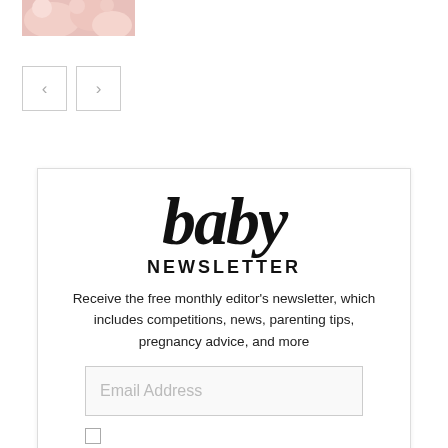[Figure (photo): Partial view of a baby/floral image at the top left corner]
[Figure (other): Navigation previous and next arrow buttons]
[Figure (other): Baby Newsletter signup box with logo, description text, email address input field, and checkbox]
baby
NEWSLETTER
Receive the free monthly editor's newsletter, which includes competitions, news, parenting tips, pregnancy advice, and more
Email Address